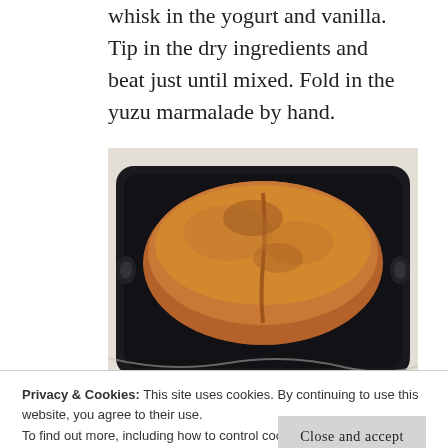whisk in the yogurt and vanilla. Tip in the dry ingredients and beat just until mixed. Fold in the yuzu marmalade by hand.
[Figure (photo): A baked loaf of bread or cake in a dark metal loaf pan, sitting on a light cloth or towel. The top is golden-brown with a crack running down the center.]
Privacy & Cookies: This site uses cookies. By continuing to use this website, you agree to their use.
To find out more, including how to control cookies, see here: Our Cookie Policy
inserted skewer or sharp knife comes